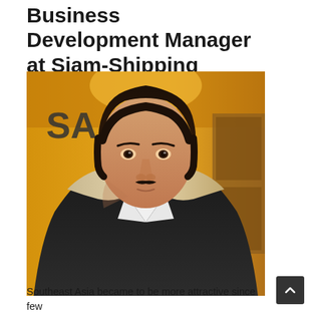Nicolas Ranno Business Development Manager at Siam-Shipping
[Figure (photo): Portrait photo of a young man with dark curly hair and a thin mustache, wearing a dark jacket with fur-trimmed hood and a white collared shirt, photographed indoors against a warm golden-lit background with partial letters 'SA' visible]
Southeast Asia became to be more attractive since few